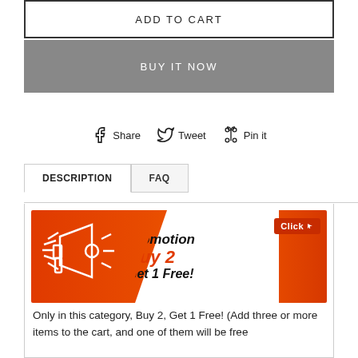ADD TO CART
BUY IT NOW
Share  Tweet  Pin it
DESCRIPTION  FAQ
[Figure (infographic): Orange promotional banner with megaphone icon on the left, white swoosh shape, text reading 'Promotion Buy 2 Get 1 Free!' and a red 'Click' button in the top-right corner.]
Only in this category, Buy 2, Get 1 Free! (Add three or more items to the cart, and one of them will be free